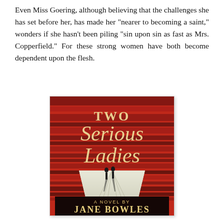Even Miss Goering, although believing that the challenges she has set before her, has made her "nearer to becoming a saint," wonders if she hasn't been piling "sin upon sin as fast as Mrs. Copperfield." For these strong women have both become dependent upon the flesh.
[Figure (illustration): Book cover of 'Two Serious Ladies, A Novel by Jane Bowles'. Red and dark background with brushstroke texture, two small silhouetted figures standing on a receding white platform/road. Title in large serif type: 'Two Serious Ladies'. Bottom has a dark banner reading 'A Novel By Jane Bowles'.]